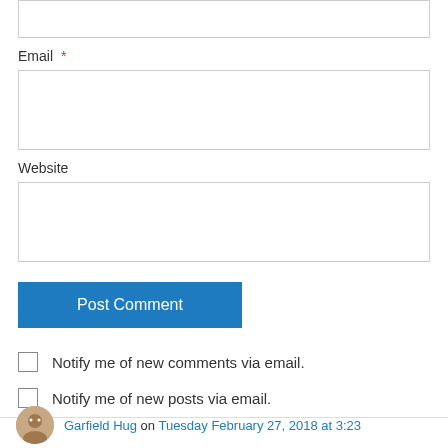Email *
Website
Post Comment
Notify me of new comments via email.
Notify me of new posts via email.
Garfield Hug on Tuesday February 27, 2018 at 3:23